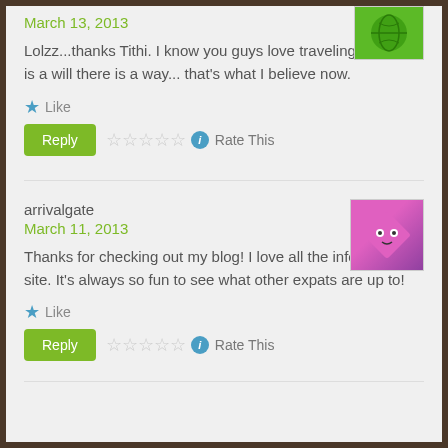March 13, 2013
Lolzz...thanks Tithi. I know you guys love traveling...if there is a will there is a way...that's what I believe now.
Like
Reply  Rate This
arrivalgate
March 11, 2013
Thanks for checking out my blog! I love all the info on your site. It's always so fun to see what other expats are up to!
Like
Reply  Rate This